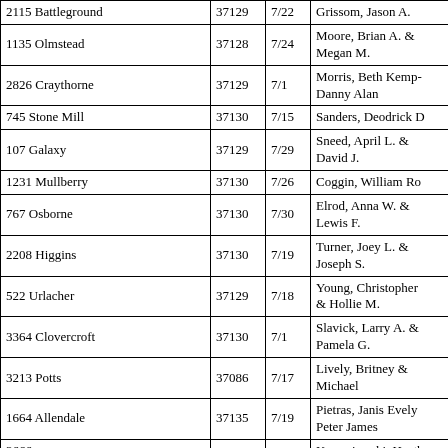| Address | ZIP | Date | Name |
| --- | --- | --- | --- |
| 2115 Battleground | 37129 | 7/22 | Grissom, Jason A. |
| 1135 Olmstead | 37128 | 7/24 | Moore, Brian A. & Megan M. |
| 2826 Craythorne | 37129 | 7/1 | Morris, Beth Kemp- Danny Alan |
| 745 Stone Mill | 37130 | 7/15 | Sanders, Deodrick D |
| 107 Galaxy | 37129 | 7/29 | Sneed, April L. & David J. |
| 1231 Mullberry | 37130 | 7/26 | Coggin, William Ro |
| 767 Osborne | 37130 | 7/30 | Elrod, Anna W. & Lewis F. |
| 2208 Higgins | 37130 | 7/19 | Turner, Joey L. & Joseph S. |
| 522 Urlacher | 37129 | 7/18 | Young, Christopher & Hollie M. |
| 3364 Clovercroft | 37130 | 7/1 | Slavick, Larry A. & Pamela G. |
| 3213 Potts | 37086 | 7/17 | Lively, Britney & Michael |
| 1664 Allendale | 37135 | 7/19 | Pietras, Janis Evely Peter James |
| 3666 Montgomery | 37167 | 7/15 | Kwasniewski, Heath & Marek J. |
| 1709 Ironwood | 37129 | 7/29 | Phanthavongsa, Michelle D. & Sinth |
| 2736 James Edmon | 37129 | 7/16 | Zimmermann, Ann John |
| 2306 Garrison | 37130 | 7/24 | Chipman, Melissa & Parker |